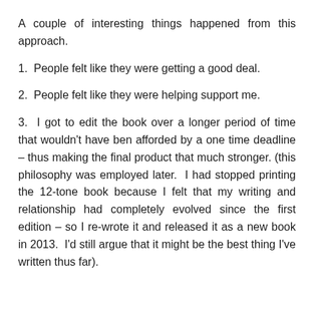A couple of interesting things happened from this approach.
1.  People felt like they were getting a good deal.
2.  People felt like they were helping support me.
3.  I got to edit the book over a longer period of time that wouldn’t have ben afforded by a one time deadline – thus making the final product that much stronger. (this philosophy was employed later.  I had stopped printing the 12-tone book because I felt that my writing and relationship had completely evolved since the first edition – so I re-wrote it and released it as a new book in 2013.  I’d still argue that it might be the best thing I’ve written thus far).